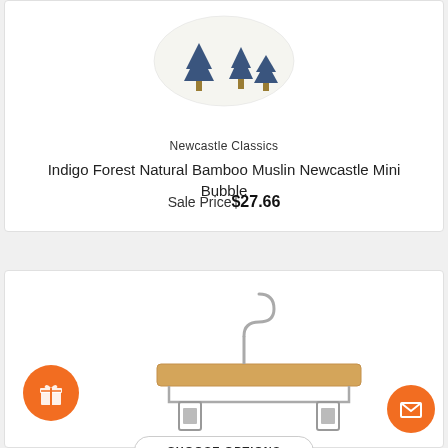[Figure (photo): Partial view of an indigo forest print bamboo muslin baby item with blue tree pattern on white fabric, cropped at top]
Newcastle Classics
Indigo Forest Natural Bamboo Muslin Newcastle Mini Bubble
Sale Price $27.66
CHOOSE OPTIONS
[Figure (photo): A wooden pants/skirt hanger with metal clips and a metal hook, shown on white background. An orange circular gift icon button is overlaid on the bottom left, and an orange circular email/envelope icon button is on the bottom right.]